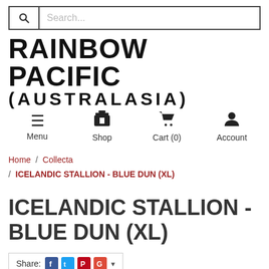Search...
RAINBOW PACIFIC (AUSTRALASIA)
Menu  Shop  Cart (0)  Account
Home / Collecta / ICELANDIC STALLION - BLUE DUN (XL)
ICELANDIC STALLION - BLUE DUN (XL)
Share: [Facebook] [Twitter] [Pinterest] [Google+] ▼
Please login or register to review